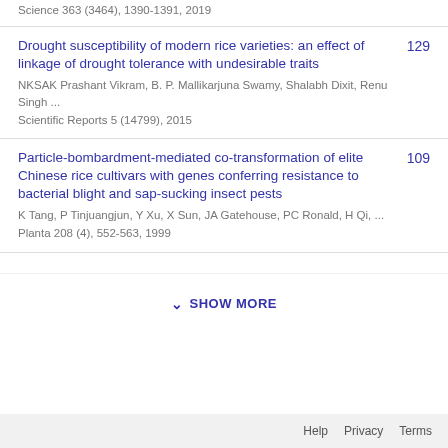Science 363 (3464), 1390-1391, 2019
Drought susceptibility of modern rice varieties: an effect of linkage of drought tolerance with undesirable traits
NKSAK Prashant Vikram, B. P. Mallikarjuna Swamy, Shalabh Dixit, Renu Singh ...
Scientific Reports 5 (14799), 2015
129
Particle-bombardment-mediated co-transformation of elite Chinese rice cultivars with genes conferring resistance to bacterial blight and sap-sucking insect pests
K Tang, P Tinjuangjun, Y Xu, X Sun, JA Gatehouse, PC Ronald, H Qi, ...
Planta 208 (4), 552-563, 1999
109
SHOW MORE
Help  Privacy  Terms